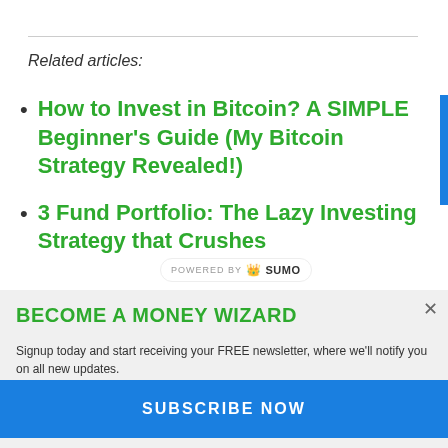Related articles:
How to Invest in Bitcoin? A SIMPLE Beginner's Guide (My Bitcoin Strategy Revealed!)
3 Fund Portfolio: The Lazy Investing Strategy that Crushes
BECOME A MONEY WIZARD
Signup today and start receiving your FREE newsletter, where we'll notify you on all new updates.
Enter your Email
SUBSCRIBE NOW